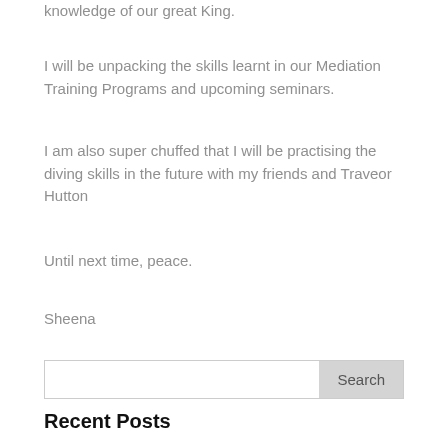knowledge of our great King.
I will be unpacking the skills learnt in our Mediation Training Programs and upcoming seminars.
I am also super chuffed that I will be practising the diving skills in the future with my friends and Traveor Hutton
Until next time, peace.
Sheena
Search
Recent Posts
Bound up in a web of intricate mutuality